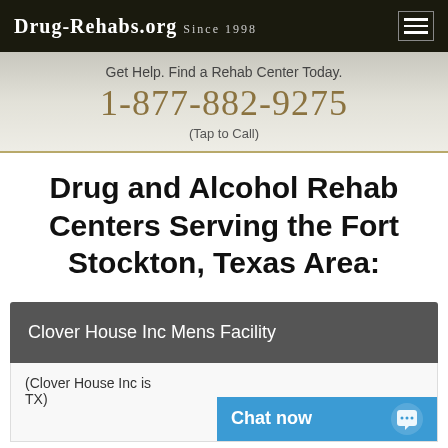Drug-Rehabs.org Since 1998
Get Help. Find a Rehab Center Today.
1-877-882-9275
(Tap to Call)
Drug and Alcohol Rehab Centers Serving the Fort Stockton, Texas Area:
Clover House Inc Mens Facility
(Clover House Inc is ... TX)